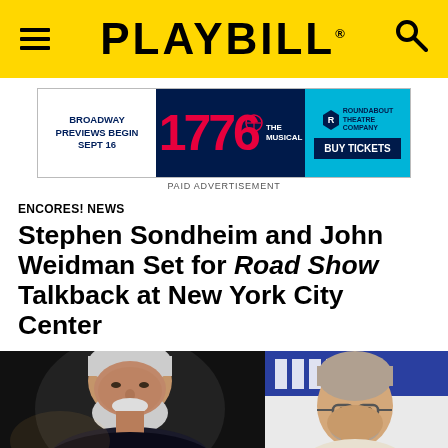PLAYBILL
[Figure (screenshot): Advertisement banner for 1776 The Musical at Roundabout Theatre Company. Text: 'Broadway Previews Begin Sept 16 | 1776 The Musical | Roundabout Theatre Company | Buy Tickets'. Label below: 'PAID ADVERTISEMENT']
ENCORES! NEWS
Stephen Sondheim and John Weidman Set for Road Show Talkback at New York City Center
[Figure (photo): Two-panel photo: left panel shows Stephen Sondheim (elderly man with white beard/hair) against dark background; right panel shows John Weidman (man with glasses and grey hair) against background with blue text/logo]